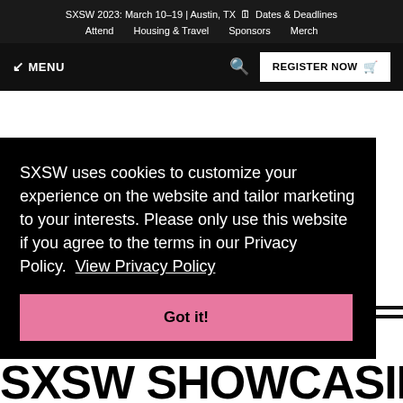SXSW 2023: March 10–19 | Austin, TX 🗓 Dates & Deadlines | Attend | Housing & Travel | Sponsors | Merch
MENU | 🔍 | REGISTER NOW 🛒
SXSW uses cookies to customize your experience on the website and tailor marketing to your interests. Please only use this website if you agree to the terms in our Privacy Policy. View Privacy Policy
Got it!
SXSW SHOWCASING ARTIST